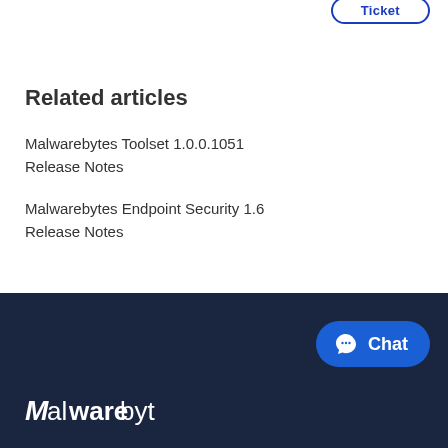Related articles
Malwarebytes Toolset 1.0.0.1051 Release Notes
Malwarebytes Endpoint Security 1.6 Release Notes
Malwarebytes  Chat